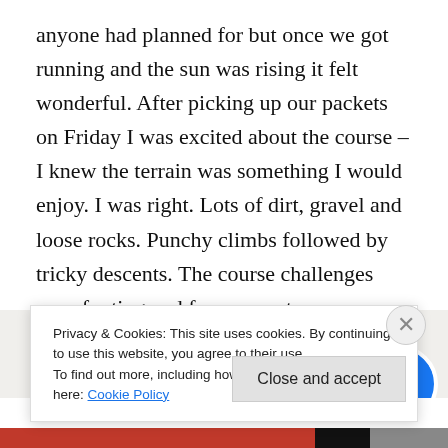anyone had planned for but once we got running and the sun was rising it felt wonderful. After picking up our packets on Friday I was excited about the course – I knew the terrain was something I would enjoy. I was right. Lots of dirt, gravel and loose rocks. Punchy climbs followed by tricky descents. The course challenges your footing and forces you to run controlled while also offering plenty of ground to really open up. The course was well-marked and the aid station volunteers were excellent.
[Figure (photo): Partial view of circular avatar profile photos — two or more people, plus a blue circle icon, partially visible behind the cookie consent banner.]
Privacy & Cookies: This site uses cookies. By continuing to use this website, you agree to their use.
To find out more, including how to control cookies, see here: Cookie Policy
Close and accept